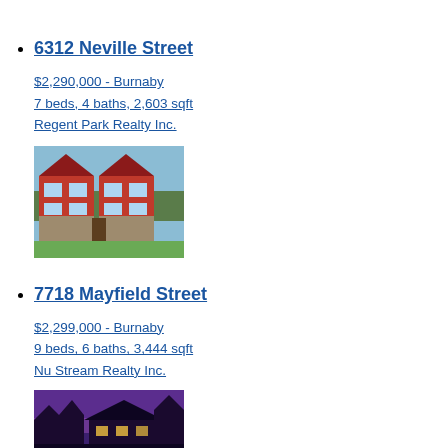6312 Neville Street
$2,290,000 - Burnaby
7 beds, 4 baths, 2,603 sqft
Regent Park Realty Inc.
[Figure (photo): Exterior photo of 6312 Neville Street, a red multi-unit residential building with stone accents and peaked rooflines]
7718 Mayfield Street
$2,299,000 - Burnaby
9 beds, 6 baths, 3,444 sqft
Nu Stream Realty Inc.
[Figure (photo): Exterior photo of 7718 Mayfield Street, a residential house photographed at dusk with purple sky]